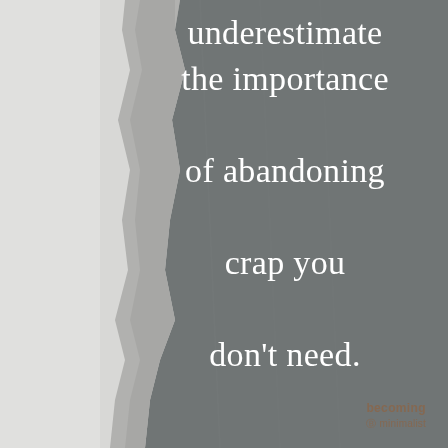[Figure (illustration): Minimalist motivational quote image. Background: dark grey textured surface (concrete or sand). Left side: white sandy/rocky cliff or wall shape creating a diagonal edge from top-left to bottom-center. White text overlaid on the dark background reads: 'underestimate the importance of abandoning crap you don't need.' Bottom-right watermark reads 'becoming minimalist'.]
underestimate the importance of abandoning crap you don't need.
becoming minimalist